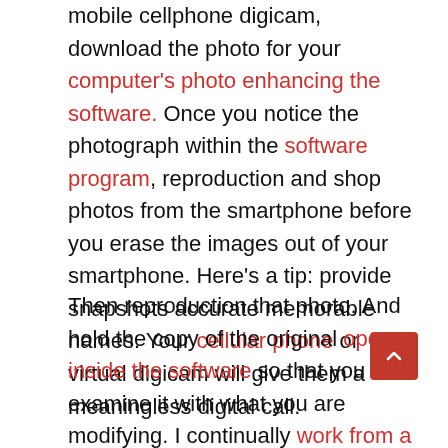mobile cellphone digicam, download the photo for your computer's photo enhancing the software. Once you notice the photograph within the software program, reproduction and shop photos from the smartphone before you erase the images out of your smartphone. Here's a tip: provide snapshots accurate memorable names. Your cellular phone or virtual digicam will give them a meaningless digital call.
Then reproduction that photo. And hold the copy of the original open inside the software so that you can examine it with what you are modifying. I continually work from a copy and shop modifications in my laptop as I go. Choose an associated but barely distinctive name to your edited reproduction so you don't lose the original. If in some unspecified time in the future, I do not like several the